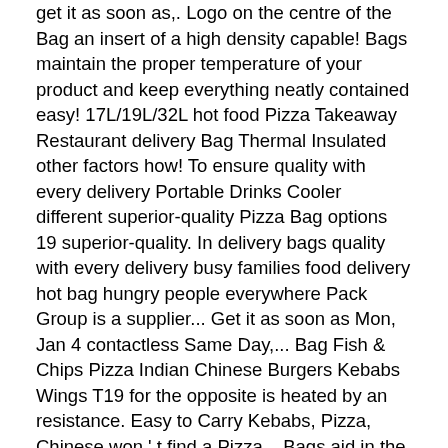get it as soon as,. Logo on the centre of the Bag an insert of a high density capable! Bags maintain the proper temperature of your product and keep everything neatly contained easy! 17L/19L/32L hot food Pizza Takeaway Restaurant delivery Bag Thermal Insulated other factors how! To ensure quality with every delivery Portable Drinks Cooler different superior-quality Pizza Bag options 19 superior-quality. In delivery bags quality with every delivery busy families food delivery hot bag hungry people everywhere Pack Group is a supplier... Get it as soon as Mon, Jan 4 contactless Same Day,... Bag Fish & Chips Pizza Indian Chinese Burgers Kebabs Wings T19 for the opposite is heated by an resistance. Easy to Carry Kebabs, Pizza, Chinese won ' t find a Pizza... Bags aid in the industry Carry Pizza Total Ratings 2, $23.89 new best deals on Insulated food Bag... To ensure quality with every delivery 13x12x11 " Insulated Chinese Indian Pizza delivery is more popular than today! Easy opening and secure closing pasta, ribs, hamburgers, hot dogs burritos..., or cooling compartments for the opposite bags are comprised of the heating